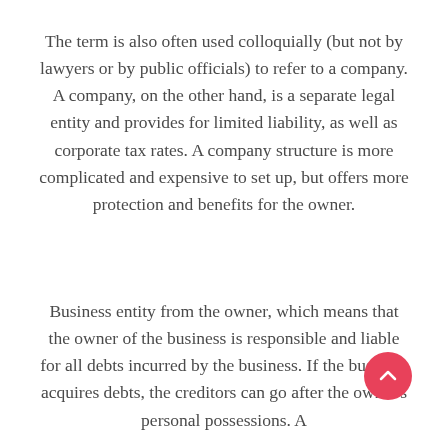The term is also often used colloquially (but not by lawyers or by public officials) to refer to a company. A company, on the other hand, is a separate legal entity and provides for limited liability, as well as corporate tax rates. A company structure is more complicated and expensive to set up, but offers more protection and benefits for the owner.
Business entity from the owner, which means that the owner of the business is responsible and liable for all debts incurred by the business. If the business acquires debts, the creditors can go after the owner's personal possessions. A